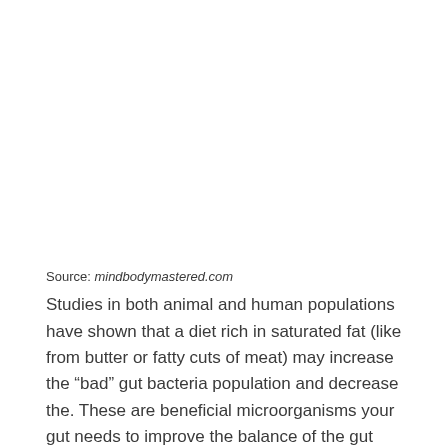Source: mindbodymastered.com
Studies in both animal and human populations have shown that a diet rich in saturated fat (like from butter or fatty cuts of meat) may increase the “bad” gut bacteria population and decrease the. These are beneficial microorganisms your gut needs to improve the balance of the gut flora.